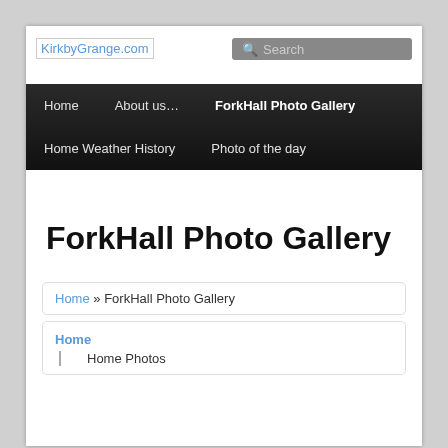KirkbyGrange.com
Search
Home   About us…   ForkHall Photo Gallery   Home Weather History   Photo of the day
ForkHall Photo Gallery
Home » ForkHall Photo Gallery
Home
Home Photos